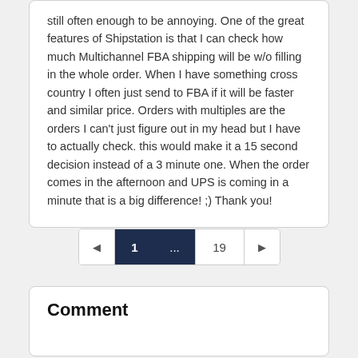still often enough to be annoying. One of the great features of Shipstation is that I can check how much Multichannel FBA shipping will be w/o filling in the whole order. When I have something cross country I often just send to FBA if it will be faster and similar price. Orders with multiples are the orders I can't just figure out in my head but I have to actually check. this would make it a 15 second decision instead of a 3 minute one. When the order comes in the afternoon and UPS is coming in a minute that is a big difference! ;) Thank you!
◄ 1 ... 19 ►
Comment